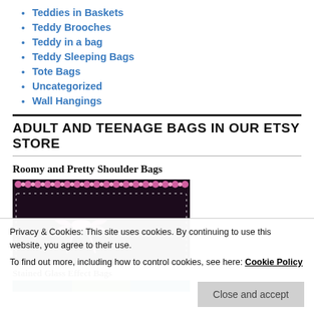Teddies in Baskets
Teddy Brooches
Teddy in a bag
Teddy Sleeping Bags
Tote Bags
Uncategorized
Wall Hangings
ADULT AND TEENAGE BAGS IN OUR ETSY STORE
Roomy and Pretty Shoulder Bags
[Figure (photo): A black crocheted shoulder bag with pink and white decorative trim along the top edge and a pink bow/ribbon design on the front body.]
Stained Glass Effect Bags
[Figure (photo): Partially visible image of stained glass effect bags in teal, green, and blue tones.]
Privacy & Cookies: This site uses cookies. By continuing to use this website, you agree to their use.
To find out more, including how to control cookies, see here: Cookie Policy